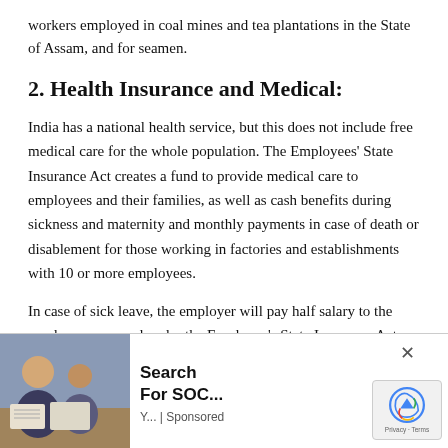workers employed in coal mines and tea plantations in the State of Assam, and for seamen.
2. Health Insurance and Medical:
India has a national health service, but this does not include free medical care for the whole population. The Employees’ State Insurance Act creates a fund to provide medical care to employees and their families, as well as cash benefits during sickness and maternity and monthly payments in case of death or disablement for those working in factories and establishments with 10 or more employees.
In case of sick leave, the employer will pay half salary to the employees covered under the Employee’s State Insurance Act.
3. Disability:
ation Act requires the employer t
es or their families in cases of
es resulting in death or disability.
[Figure (photo): Advertisement overlay showing a person at a desk, with ad text 'Search For SOC...' from Y... | Sponsored, with a close button and reCAPTCHA badge.]